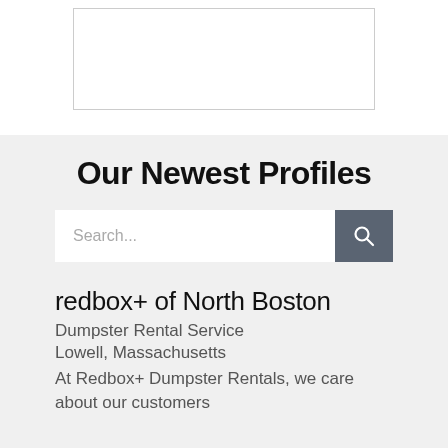[Figure (other): Empty white image box with a thin border, partially visible at the top of the page]
Our Newest Profiles
[Figure (other): Search bar with placeholder text 'Search...' and a dark grey search button with a magnifying glass icon]
redbox+ of North Boston
Dumpster Rental Service
Lowell, Massachusetts
At Redbox+ Dumpster Rentals, we care about our customers